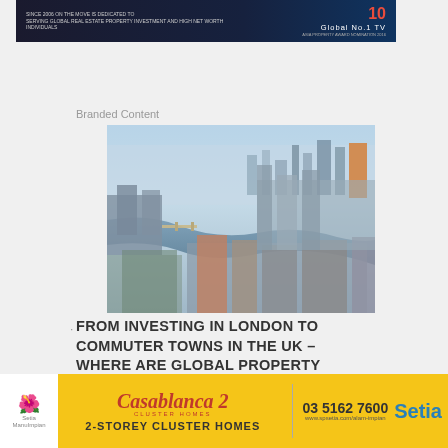[Figure (screenshot): Dark blue banner with 'Global No.1 TV' text on right and small text on left, with a '10 YEARS' badge]
Branded Content
[Figure (photo): Aerial photograph of London showing the River Thames, Tower Bridge, and the city skyline]
FROM INVESTING IN LONDON TO COMMUTER TOWNS IN THE UK – WHERE ARE GLOBAL PROPERTY
[Figure (infographic): Advertisement banner for Casablanca 2 Cluster Homes by Setia - 2-Storey Cluster Homes, phone number 03 5162 7600, website www.spsetia.com/alam-impian]